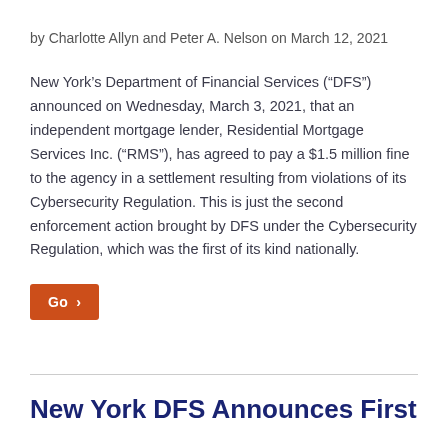by Charlotte Allyn and Peter A. Nelson on March 12, 2021
New York’s Department of Financial Services (“DFS”) announced on Wednesday, March 3, 2021, that an independent mortgage lender, Residential Mortgage Services Inc. (“RMS”), has agreed to pay a $1.5 million fine to the agency in a settlement resulting from violations of its Cybersecurity Regulation. This is just the second enforcement action brought by DFS under the Cybersecurity Regulation, which was the first of its kind nationally.
Go ›
New York DFS Announces First